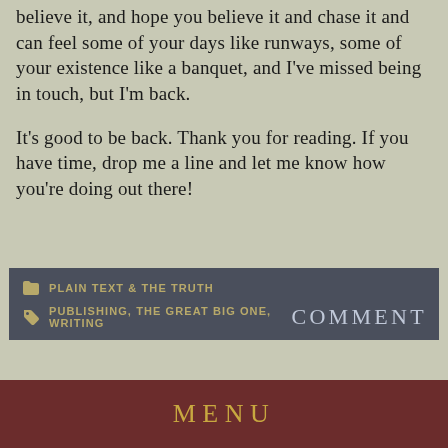believe it, and hope you believe it and chase it and can feel some of your days like runways, some of your existence like a banquet, and I've missed being in touch, but I'm back.
It's good to be back. Thank you for reading. If you have time, drop me a line and let me know how you're doing out there!
PLAIN TEXT & THE TRUTH
PUBLISHING, THE GREAT BIG ONE, WRITING
COMMENT
MENU